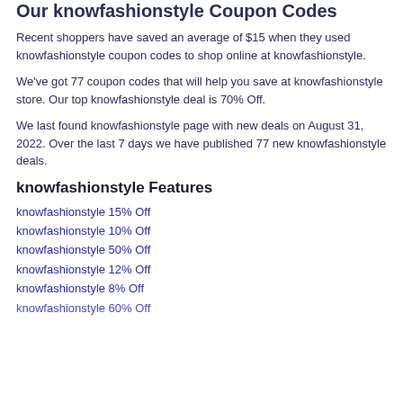Our knowfashionstyle Coupon Codes
Recent shoppers have saved an average of $15 when they used knowfashionstyle coupon codes to shop online at knowfashionstyle.
We've got 77 coupon codes that will help you save at knowfashionstyle store. Our top knowfashionstyle deal is 70% Off.
We last found knowfashionstyle page with new deals on August 31, 2022. Over the last 7 days we have published 77 new knowfashionstyle deals.
knowfashionstyle Features
knowfashionstyle 15% Off
knowfashionstyle 10% Off
knowfashionstyle 50% Off
knowfashionstyle 12% Off
knowfashionstyle 8% Off
knowfashionstyle 60% Off